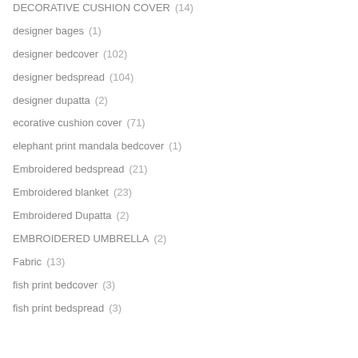DECORATIVE CUSHION COVER (14)
designer bages (1)
designer bedcover (102)
designer bedspread (104)
designer dupatta (2)
ecorative cushion cover (71)
elephant print mandala bedcover (1)
Embroidered bedspread (21)
Embroidered blanket (23)
Embroidered Dupatta (2)
EMBROIDERED UMBRELLA (2)
Fabric (13)
fish print bedcover (3)
fish print bedspread (3)